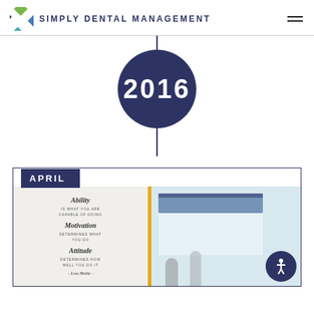Simply Dental Management
[Figure (infographic): Timeline graphic with dark navy circle containing the year 2016, with vertical connector lines above and below]
APRIL
[Figure (photo): Two-panel office photo: left panel shows a motivational quote wall reading 'Ability is what you are capable of doing. Motivation determines what you do. Attitude determines how well you do it. - Lou Holtz -'; right panel shows a bright office interior with people]